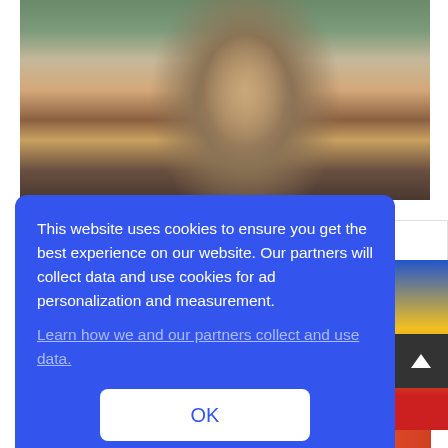[Figure (photo): Photo of a woman with long blonde hair wearing a dark grey ribbed long-sleeve top, sitting on a couch with hand near her head, appearing thoughtful. Background shows greenery and city lights. Partial image of a colorful photo visible at the bottom.]
This website uses cookies to ensure you get the best experience on our website. Our partners will collect data and use cookies for ad personalization and measurement.
Learn how we and our partners collect and use data.
OK